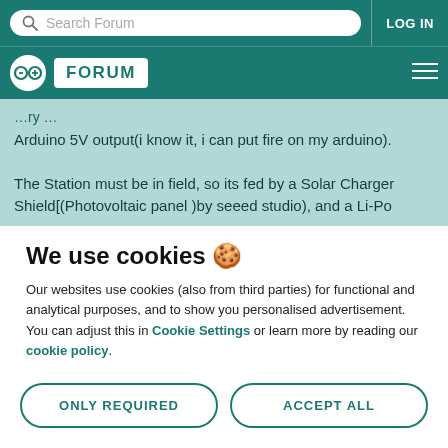Search Forum | LOG IN
FORUM
Arduino 5V output(i know it, i can put fire on my arduino).
The Station must be in field, so its fed by a Solar Charger Shield[(Photovoltaic panel )by seeed studio), and a Li-Po
We use cookies 🍪
Our websites use cookies (also from third parties) for functional and analytical purposes, and to show you personalised advertisement. You can adjust this in Cookie Settings or learn more by reading our cookie policy.
ONLY REQUIRED
ACCEPT ALL